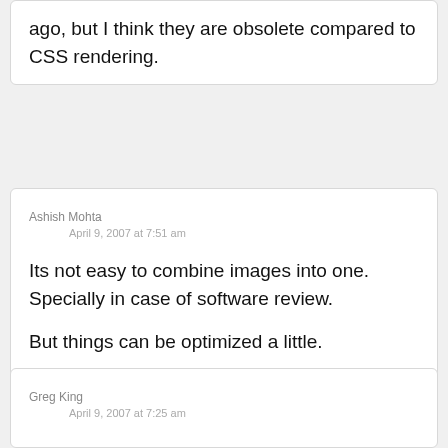ago, but I think they are obsolete compared to CSS rendering.
Ashish Mohta
April 9, 2007 at 7:51 am
Its not easy to combine images into one. Specially in case of software review.

But things can be optimized a little.
Greg King
April 9, 2007 at 7:25 am